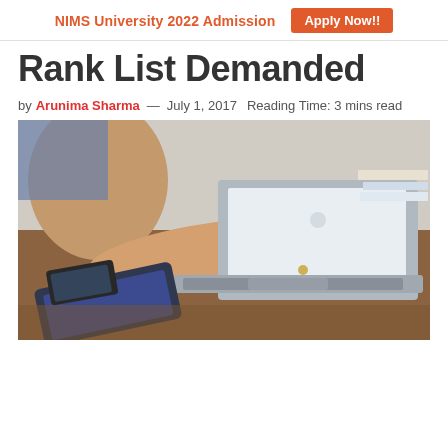NIMS University 2022 Admission  Apply Now!!
Rank List Demanded
by Arunima Sharma — July 1, 2017  Reading Time: 3 mins read
[Figure (photo): Person typing on a laptop computer placed on a wooden desk, with a tablet and smartphone also visible on the desk.]